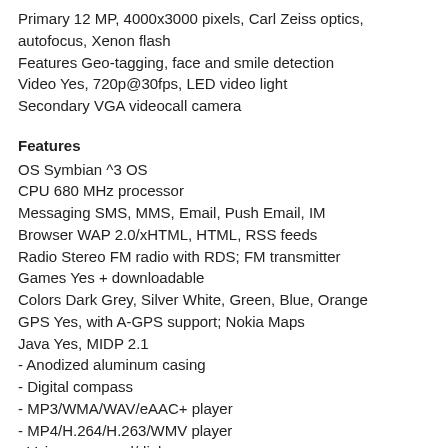Primary 12 MP, 4000x3000 pixels, Carl Zeiss optics, autofocus, Xenon flash
Features Geo-tagging, face and smile detection
Video Yes, 720p@30fps, LED video light
Secondary VGA videocall camera
Features
OS Symbian ^3 OS
CPU 680 MHz processor
Messaging SMS, MMS, Email, Push Email, IM
Browser WAP 2.0/xHTML, HTML, RSS feeds
Radio Stereo FM radio with RDS; FM transmitter
Games Yes + downloadable
Colors Dark Grey, Silver White, Green, Blue, Orange
GPS Yes, with A-GPS support; Nokia Maps
Java Yes, MIDP 2.1
- Anodized aluminum casing
- Digital compass
- MP3/WMA/WAV/eAAC+ player
- MP4/H.264/H.263/WMV player
- Voice command/dial
- Document viewer (Word, Excel, PowerPoint, PDF)